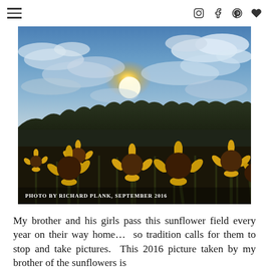Navigation menu and social icons (Instagram, Facebook, Pinterest, Heart/favorite)
[Figure (photo): A sunflower field at sunset/sunrise with dramatic cloudy sky and silhouetted trees in the background. Caption reads: Photo by Richard Plank, September 2016]
Photo by Richard Plank, September 2016
My brother and his girls pass this sunflower field every year on their way home…  so tradition calls for them to stop and take pictures.  This 2016 picture taken by my brother of the sunflowers is